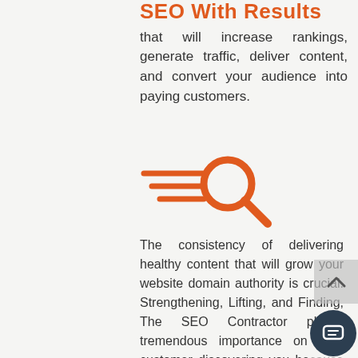SEO With Results
that will increase rankings, generate traffic, deliver content, and convert your audience into paying customers.
[Figure (illustration): Orange fast-moving magnifying glass icon with speed lines, representing SEO speed/performance.]
The consistency of delivering healthy content that will grow your website domain authority is crucial. Strengthening, Lifting, and Finding, The SEO Contractor places tremendous importance on your customer discovering you because of how Google ranks your site.